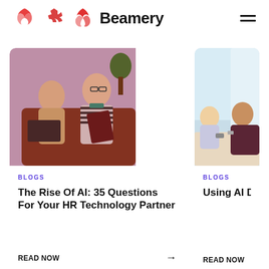Beamery
[Figure (photo): Two people sitting on a couch, one holding a notebook, with a laptop on a table, warm pinkish-red tinted office environment with a plant in background]
BLOGS
The Rise Of AI: 35 Questions For Your HR Technology Partner
READ NOW →
[Figure (photo): Two people sitting at a conference table in a bright modern office with large windows]
BLOGS
Using AI Decisions
READ NOW